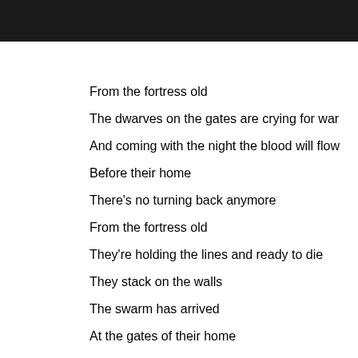[Figure (photo): Dark image bar at top of page]
From the fortress old
The dwarves on the gates are crying for war
And coming with the night the blood will flow
Before their home
There's no turning back anymore
From the fortress old
They're holding the lines and ready to die
They stack on the walls
The swarm has arrived
At the gates of their home
There's no turning back anymore
Here we are, at the gates of the mountain
Hold the line
We're alone but no one was left behind
We are outnumbered as defenders